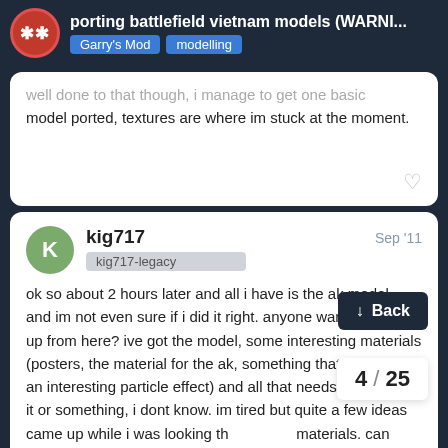porting battlefield vietnam models (WARNI... | Garry's Mod | modelling
model ported, textures are where im stuck at the moment.
kig717  Sep '11
kig717-legacy
ok so about 2 hours later and all i have is the ak model, and im not even sure if i did it right. anyone wanna take it up from here? ive got the model, some interesting materials (posters, the material for the ak, something that could be an interesting particle effect) and all that needs is exporting it or something, i dont know. im tired but quite a few ideas came up while i was looking th materials. can anyone say "Vietnam HUD"